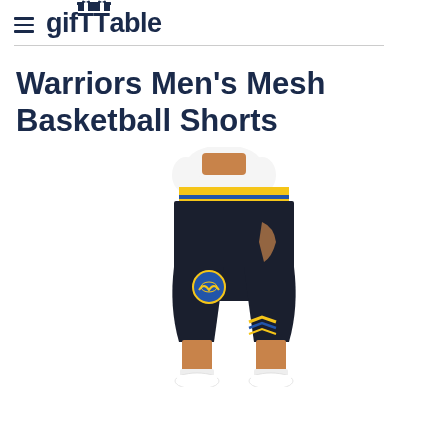giftTable
Warriors Men's Mesh Basketball Shorts
[Figure (photo): A man wearing Golden State Warriors black mesh basketball shorts with gold and blue waistband stripes and chevron details near the hem, along with white sneakers and a white t-shirt, shown from the waist down.]